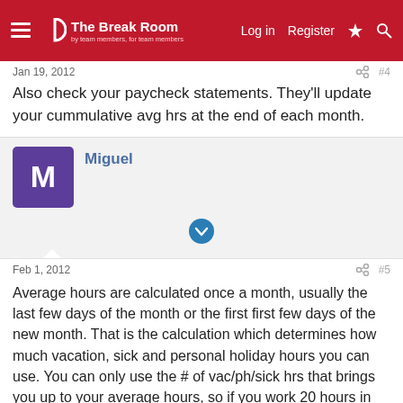The Break Room — Log in | Register
Jan 19, 2012  #4
Also check your paycheck statements. They'll update your cummulative avg hrs at the end of each month.
Miguel
Feb 1, 2012  #5
Average hours are calculated once a month, usually the last few days of the month or the first first few days of the new month. That is the calculation which determines how much vacation, sick and personal holiday hours you can use. You can only use the # of vac/ph/sick hrs that brings you up to your average hours, so if you work 20 hours in the week, but your average hours are 30, you can only use 10 hours of vac/ph/sick. At the same token, if you worked 30 hours this week, but your average hours are 30, you can't use ANY vac/ph/sick hours that week.